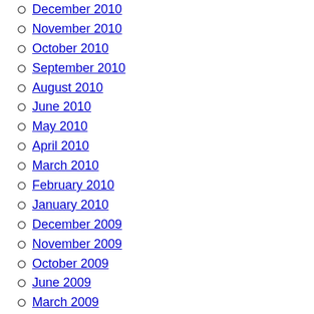December 2010
November 2010
October 2010
September 2010
August 2010
June 2010
May 2010
April 2010
March 2010
February 2010
January 2010
December 2009
November 2009
October 2009
June 2009
March 2009
February 2009
September 2008
August 2008
October 2007
September 2007
September 2005
August 2005
Categories